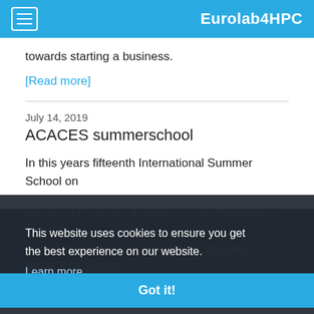Eurolab4HPC
towards starting a business.
[Read more]
July 14, 2019
ACACES summerschool
In this years fifteenth International Summer School on Advanced Computer Architecture and Compilation for High Performance and Embedded Computing (ACACES), Eurolab4HPC, supported by members Nora Boulicaut (Memory management), Maurizio Palesi (Compilers), Walter + Memmory Systems), Sven Rheindt (Heterogeneous Era, Aarno Jaleel - Memory Technology and Architecture, Thomas Patolovski [Read more]
This website uses cookies to ensure you get the best experience on our website.
Learn more
Got it!